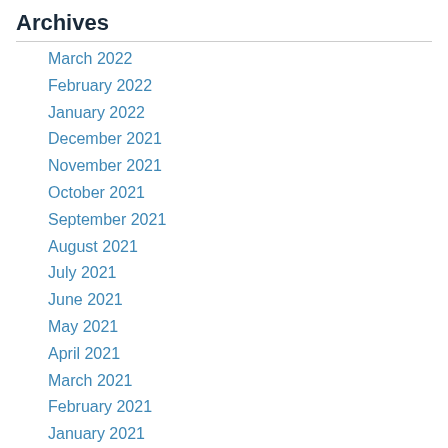Archives
March 2022
February 2022
January 2022
December 2021
November 2021
October 2021
September 2021
August 2021
July 2021
June 2021
May 2021
April 2021
March 2021
February 2021
January 2021
December 2020
November 2020
October 2020
September 2020
August 2020
July 2020